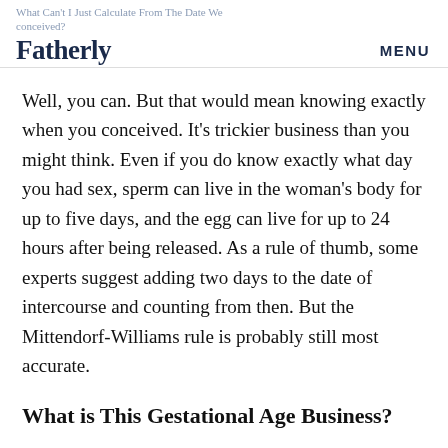What Can't I Just Calculate From The Date We conceived?
Fatherly
Well, you can. But that would mean knowing exactly when you conceived. It's trickier business than you might think. Even if you do know exactly what day you had sex, sperm can live in the woman's body for up to five days, and the egg can live for up to 24 hours after being released. As a rule of thumb, some experts suggest adding two days to the date of intercourse and counting from then. But the Mittendorf-Williams rule is probably still most accurate.
What is This Gestational Age Business?